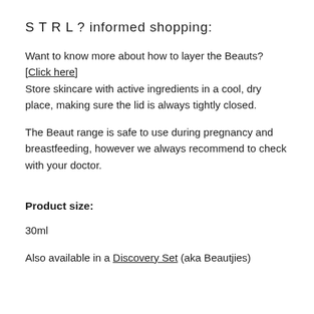S T R L ? informed shopping:
Want to know more about how to layer the Beauts? [Click here]
Store skincare with active ingredients in a cool, dry place, making sure the lid is always tightly closed.
The Beaut range is safe to use during pregnancy and breastfeeding, however we always recommend to check with your doctor.
Product size:
30ml
Also available in a Discovery Set (aka Beautjies)